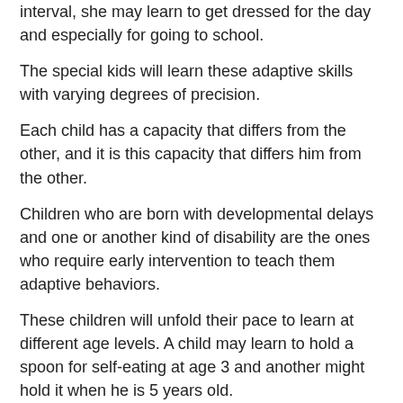interval, she may learn to get dressed for the day and especially for going to school.
The special kids will learn these adaptive skills with varying degrees of precision.
Each child has a capacity that differs from the other, and it is this capacity that differs him from the other.
Children who are born with developmental delays and one or another kind of disability are the ones who require early intervention to teach them adaptive behaviors.
These children will unfold their pace to learn at different age levels. A child may learn to hold a spoon for self-eating at age 3 and another might hold it when he is 5 years old.
Diagnosing Adaptive Behavior
There are two diagnostic criteria that determine if